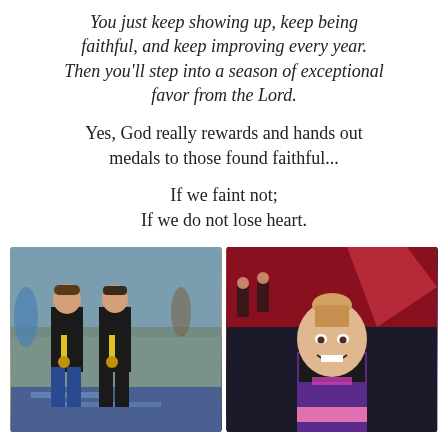You just keep showing up, keep being faithful, and keep improving every year. Then you'll step into a season of exceptional favor from the Lord.
Yes, God really rewards and hands out medals to those found faithful...
If we faint not;
If we do not lose heart.
[Figure (photo): Two children standing outdoors wearing black martial arts uniforms with yellow medals around their necks, smiling at the camera. Blue and yellow decorative floor visible.]
[Figure (photo): A young smiling girl in a black and purple cheerleading uniform with her hair in a bun, at a cheerleading competition. Other cheerleaders visible in background.]